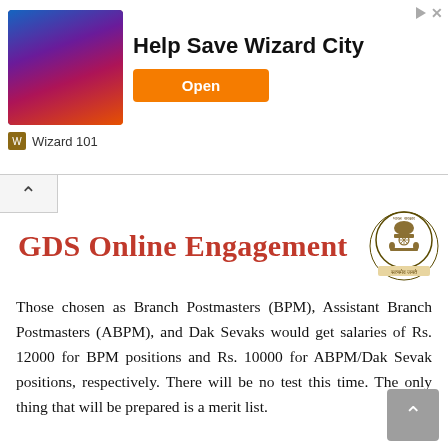[Figure (screenshot): Advertisement banner for 'Wizard 101' game showing game artwork with characters, bold text 'Help Save Wizard City', and an orange 'Open' button. Bottom shows wizard icon and 'Wizard 101' label.]
GDS Online Engagement
[Figure (logo): Indian Government emblem (Ashoka Chakra / Lion Capital) with 'सत्यमेव जयते' text below, circular seal style.]
Those chosen as Branch Postmasters (BPM), Assistant Branch Postmasters (ABPM), and Dak Sevaks would get salaries of Rs. 12000 for BPM positions and Rs. 10000 for ABPM/Dak Sevak positions, respectively. There will be no test this time. The only thing that will be prepared is a merit list.